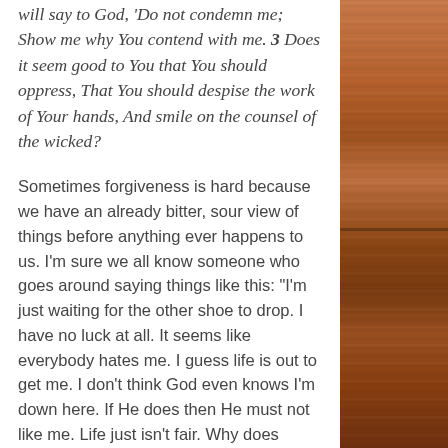will say to God, ‘Do not condemn me; Show me why You contend with me. 3 Does it seem good to You that You should oppress, That You should despise the work of Your hands, And smile on the counsel of the wicked?
Sometimes forgiveness is hard because we have an already bitter, sour view of things before anything ever happens to us. I’m sure we all know someone who goes around saying things like this: “I’m just waiting for the other shoe to drop. I have no luck at all. It seems like everybody hates me. I guess life is out to get me. I don’t think God even knows I’m down here. If He does then He must not like me. Life just isn’t fair. Why does everyone also seem
[Figure (photo): Wooden plank texture panel on the right side of the page, warm brown tones with wood grain lines, split horizontally by a darker seam.]